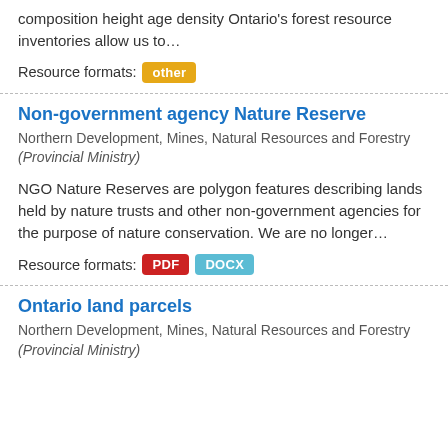composition height age density Ontario's forest resource inventories allow us to…
Resource formats: other
Non-government agency Nature Reserve
Northern Development, Mines, Natural Resources and Forestry (Provincial Ministry)
NGO Nature Reserves are polygon features describing lands held by nature trusts and other non-government agencies for the purpose of nature conservation. We are no longer…
Resource formats: PDF DOCX
Ontario land parcels
Northern Development, Mines, Natural Resources and Forestry (Provincial Ministry)